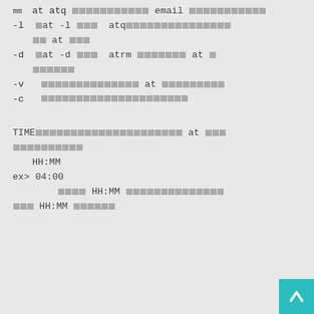email [squares]
-l  [square]at -l [squares] atq[squares] [squares] at [squares]
-d  [square]at -d [squares] atrm [squares] at [square][squares]
-v  [squares] at [squares]
-c  [squares]
TIME[squares] at [squares][squares]
HH:MM
ex> 04:00
[squares] HH:MM [squares]
[squares] HH:MM [squares]